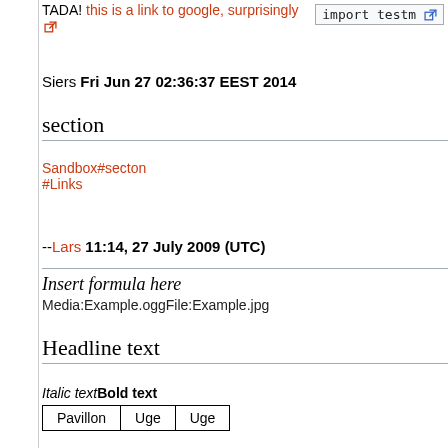TADA! this is a link to google, surprisingly
import testm
Siers Fri Jun 27 02:36:37 EEST 2014
section
Sandbox#secton
#Links
--Lars 11:14, 27 July 2009 (UTC)
Media:Example.oggFile:Example.jpg
Headline text
Italic textBold text
| Pavillon | Uge | Uge |
Matrix: